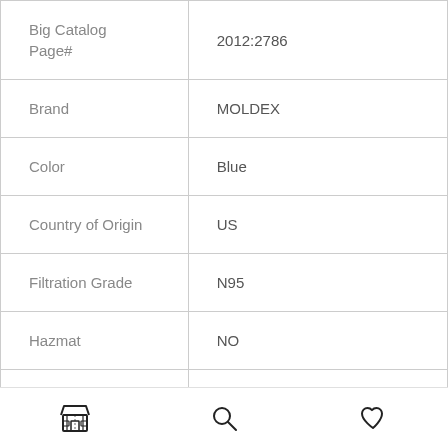| Attribute | Value |
| --- | --- |
| Big Catalog Page# | 2012:2786 |
| Brand | MOLDEX |
| Color | Blue |
| Country of Origin | US |
| Filtration Grade | N95 |
| Hazmat | NO |
| MPI Catalog | NO |
[store icon] [search icon] [heart icon]